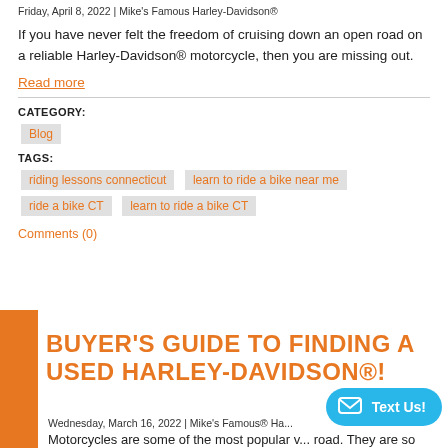Friday, April 8, 2022 | Mike's Famous Harley-Davidson®
If you have never felt the freedom of cruising down an open road on a reliable Harley-Davidson® motorcycle, then you are missing out.
Read more
CATEGORY:
Blog
TAGS:
riding lessons connecticut
learn to ride a bike near me
ride a bike CT
learn to ride a bike CT
Comments (0)
BUYER'S GUIDE TO FINDING A USED HARLEY-DAVIDSON®!
Wednesday, March 16, 2022 | Mike's Famous® Ha...
Motorcycles are some of the most popular ve... road. They are so popular that countless new motorcycles are hitting the market every year. But one thing remains unchanged